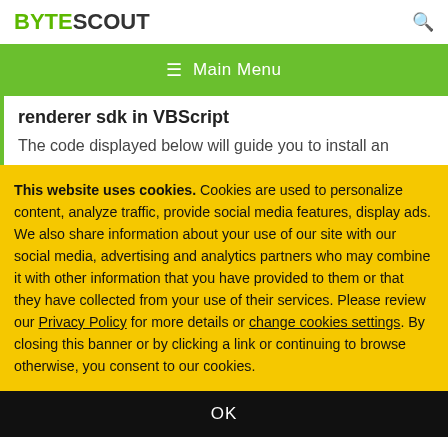BYTESCOUT
renderer sdk in VBScript
The code displayed below will guide you to install an
This website uses cookies. Cookies are used to personalize content, analyze traffic, provide social media features, display ads. We also share information about your use of our site with our social media, advertising and analytics partners who may combine it with other information that you have provided to them or that they have collected from your use of their services. Please review our Privacy Policy for more details or change cookies settings. By closing this banner or by clicking a link or continuing to browse otherwise, you consent to our cookies.
OK